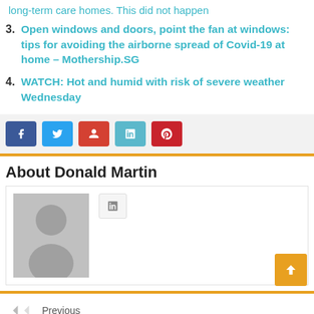long-term care homes. This did not happen
3. Open windows and doors, point the fan at windows: tips for avoiding the airborne spread of Covid-19 at home – Mothership.SG
4. WATCH: Hot and humid with risk of severe weather Wednesday
[Figure (other): Social sharing buttons: Facebook, Twitter, Google+, LinkedIn, Pinterest]
About Donald Martin
[Figure (photo): Placeholder avatar image of Donald Martin with a small social button]
Previous